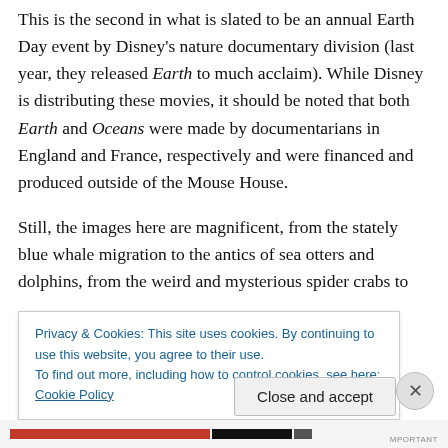This is the second in what is slated to be an annual Earth Day event by Disney's nature documentary division (last year, they released Earth to much acclaim). While Disney is distributing these movies, it should be noted that both Earth and Oceans were made by documentarians in England and France, respectively and were financed and produced outside of the Mouse House.

Still, the images here are magnificent, from the stately blue whale migration to the antics of sea otters and dolphins, from the weird and mysterious spider crabs to the...
Privacy & Cookies: This site uses cookies. By continuing to use this website, you agree to their use.
To find out more, including how to control cookies, see here: Cookie Policy